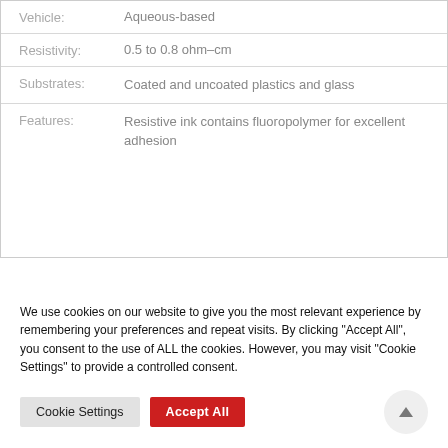| Property | Value |
| --- | --- |
| Vehicle: | Aqueous-based |
| Resistivity: | 0.5 to 0.8 ohm-cm |
| Substrates: | Coated and uncoated plastics and glass |
| Features: | Resistive ink contains fluoropolymer for excellent adhesion |
We use cookies on our website to give you the most relevant experience by remembering your preferences and repeat visits. By clicking "Accept All", you consent to the use of ALL the cookies. However, you may visit "Cookie Settings" to provide a controlled consent.
Cookie Settings
Accept All